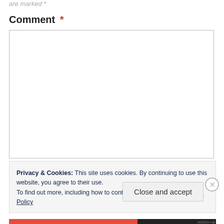are marked *
Comment *
[Figure (other): Empty comment text area input box with border]
Privacy & Cookies: This site uses cookies. By continuing to use this website, you agree to their use.
To find out more, including how to control cookies, see here: Cookie Policy
Close and accept